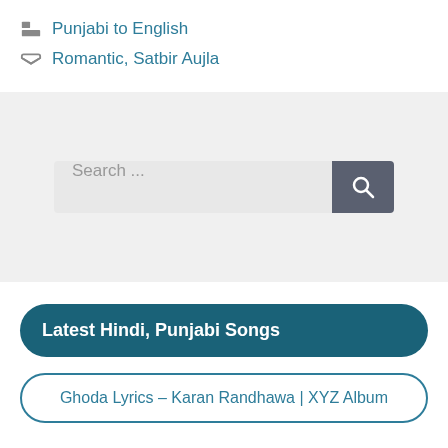Punjabi to English
Romantic, Satbir Aujla
[Figure (screenshot): Search bar with placeholder text 'Search ...' and a dark search button with magnifying glass icon]
Latest Hindi, Punjabi Songs
Ghoda Lyrics – Karan Randhawa | XYZ Album